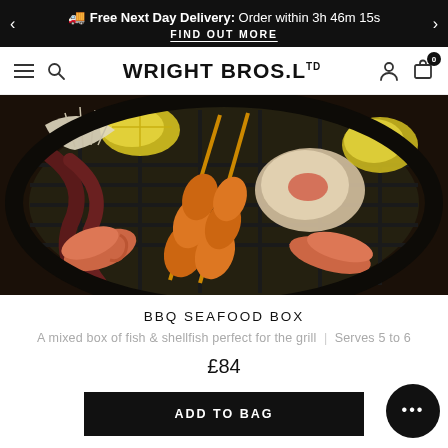Free Next Day Delivery: Order within 3h 46m 15s | FIND OUT MORE
WRIGHT BROS. LTD
[Figure (photo): Overhead view of a round BBQ grill loaded with various seafood including prawns, skewered fish, octopus, scallops, and lemon wedges.]
BBQ SEAFOOD BOX
A mixed box of fish & shellfish perfect for the grill  |  Serves 5 to 6
£84
ADD TO BAG